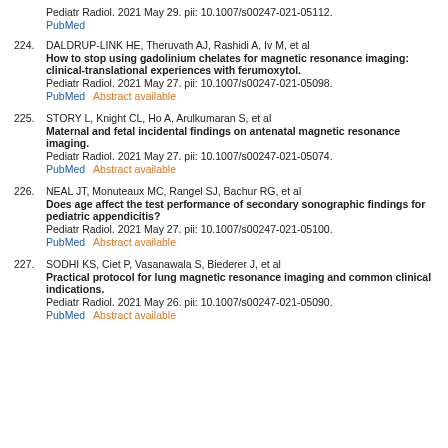Pediatr Radiol. 2021 May 29. pii: 10.1007/s00247-021-05112.
PubMed
224. DALDRUP-LINK HE, Theruvath AJ, Rashidi A, Iv M, et al
How to stop using gadolinium chelates for magnetic resonance imaging: clinical-translational experiences with ferumoxytol.
Pediatr Radiol. 2021 May 27. pii: 10.1007/s00247-021-05098.
PubMed    Abstract available
225. STORY L, Knight CL, Ho A, Arulkumaran S, et al
Maternal and fetal incidental findings on antenatal magnetic resonance imaging.
Pediatr Radiol. 2021 May 27. pii: 10.1007/s00247-021-05074.
PubMed    Abstract available
226. NEAL JT, Monuteaux MC, Rangel SJ, Bachur RG, et al
Does age affect the test performance of secondary sonographic findings for pediatric appendicitis?
Pediatr Radiol. 2021 May 27. pii: 10.1007/s00247-021-05100.
PubMed    Abstract available
227. SODHI KS, Ciet P, Vasanawala S, Biederer J, et al
Practical protocol for lung magnetic resonance imaging and common clinical indications.
Pediatr Radiol. 2021 May 26. pii: 10.1007/s00247-021-05090.
PubMed    Abstract available